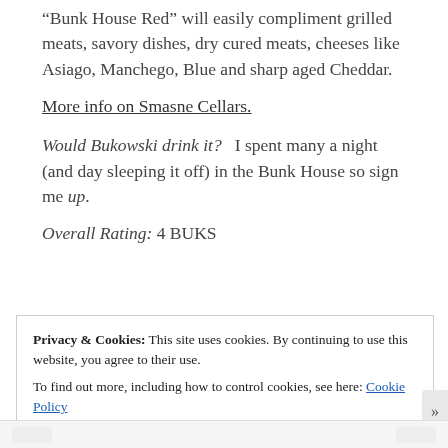“Bunk House Red” will easily compliment grilled meats, savory dishes, dry cured meats, cheeses like Asiago, Manchego, Blue and sharp aged Cheddar.
More info on Smasne Cellars.
Would Bukowski drink it? I spent many a night (and day sleeping it off) in the Bunk House so sign me up.
Overall Rating: 4 BUKS
[Figure (illustration): Five Bukowski-style icons/stamps in a row, the first appearing lighter/greyed out and the rest darker, representing a 4 out of 5 rating]
Privacy & Cookies: This site uses cookies. By continuing to use this website, you agree to their use.
To find out more, including how to control cookies, see here: Cookie Policy
Close and accept